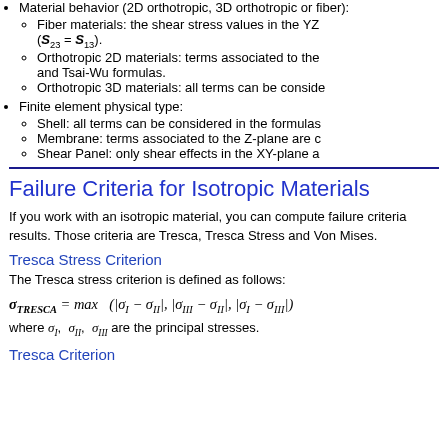Material behavior (2D orthotropic, 3D orthotropic or fiber):
Fiber materials: the shear stress values in the YZ (S23 = S13).
Orthotropic 2D materials: terms associated to the and Tsai-Wu formulas.
Orthotropic 3D materials: all terms can be considered.
Finite element physical type:
Shell: all terms can be considered in the formulas.
Membrane: terms associated to the Z-plane are c
Shear Panel: only shear effects in the XY-plane a
Failure Criteria for Isotropic Materials
If you work with an isotropic material, you can compute failure criteria results. Those criteria are Tresca, Tresca Stress and Von Mises.
Tresca Stress Criterion
The Tresca stress criterion is defined as follows:
where σ_I, σ_II, σ_III are the principal stresses.
Tresca Criterion